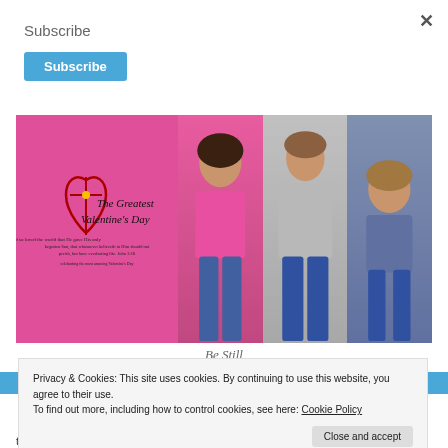Subscribe
Subscribe
[Figure (photo): Product image showing 'The Greatest Valentine's Day' design on a pink background, with three models wearing the design on a pink fitted t-shirt, gray long-sleeve shirt, and blue child's t-shirt.]
Be Still
Privacy & Cookies: This site uses cookies. By continuing to use this website, you agree to their use.
To find out more, including how to control cookies, see here: Cookie Policy
Close and accept
tumblers and more. Click the link to see all the available